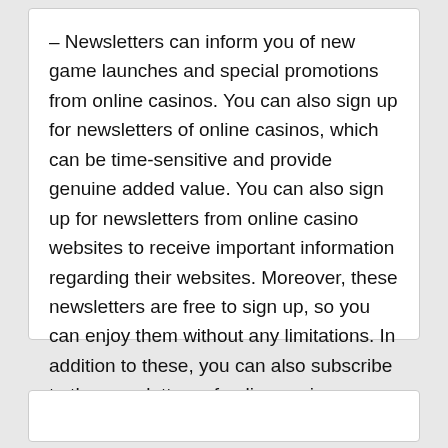– Newsletters can inform you of new game launches and special promotions from online casinos. You can also sign up for newsletters of online casinos, which can be time-sensitive and provide genuine added value. You can also sign up for newsletters from online casino websites to receive important information regarding their websites. Moreover, these newsletters are free to sign up, so you can enjoy them without any limitations. In addition to these, you can also subscribe to the newsletters of online casino companies in their own languages.
admin   info